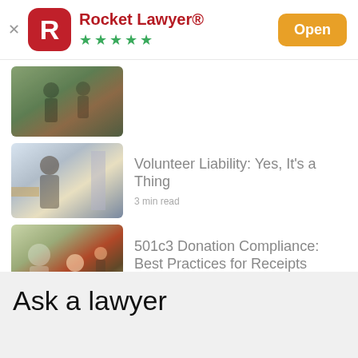[Figure (logo): Rocket Lawyer app store listing header with red R logo, app name, star rating, and Open button]
[Figure (photo): Outdoor group activity photo thumbnail]
[Figure (photo): Woman with phone indoors photo thumbnail]
Volunteer Liability: Yes, It's a Thing
3 min read
[Figure (photo): Family with child outdoors photo thumbnail]
501c3 Donation Compliance: Best Practices for Receipts
3 min read
Ask a lawyer